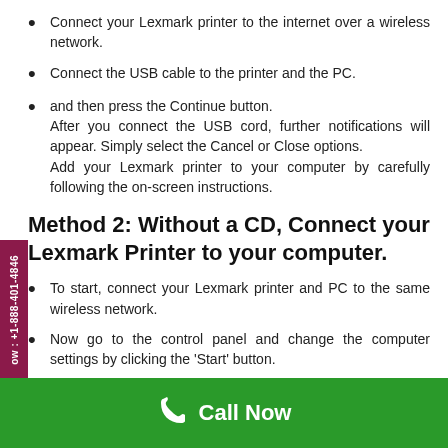Connect your Lexmark printer to the internet over a wireless network.
Connect the USB cable to the printer and the PC.
and then press the Continue button.
After you connect the USB cord, further notifications will appear. Simply select the Cancel or Close options.
Add your Lexmark printer to your computer by carefully following the on-screen instructions.
Method 2: Without a CD, Connect your Lexmark Printer to your computer.
To start, connect your Lexmark printer and PC to the same wireless network.
Now go to the control panel and change the computer settings by clicking the 'Start' button.
In the Hardware category, choose 'Add a new Device.'
Call Now